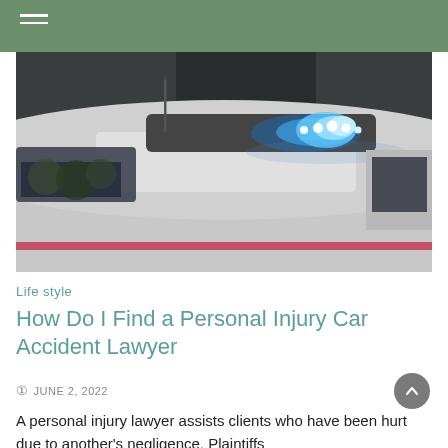[Figure (photo): Close-up photo of a police car roof with glowing blue emergency lights/siren lights at night, dark background]
Life style
How Do I Find a Personal Injury Car Accident Lawyer
JUNE 2, 2022
A personal injury lawyer assists clients who have been hurt due to another's negligence. Plaintiffs